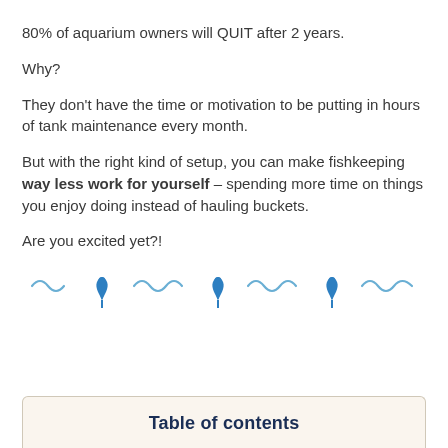80% of aquarium owners will QUIT after 2 years.
Why?
They don't have the time or motivation to be putting in hours of tank maintenance every month.
But with the right kind of setup, you can make fishkeeping way less work for yourself – spending more time on things you enjoy doing instead of hauling buckets.
Are you excited yet?!
[Figure (illustration): Decorative divider row with wave lines and seaweed/plant icons in blue]
Table of contents